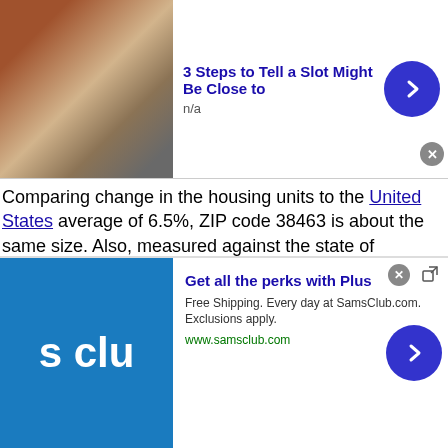[Figure (other): Advertisement banner at top: '3 Steps to Tell a Slot Might Be Close to' with thumbnail image and blue arrow button]
Comparing change in the housing units to the United States average of 6.5%, ZIP code 38463 is about the same size. Also, measured against the state of Tennessee, change in the housing units of 6.5%, ZIP code 38463 is about the same size.
Figure 5 shows the percentage of rental property based on that they are occupied by renters as a percent of the total number of households in the community (including homes, apartments, etc.) ZIP code 38463 shows it has a Renter Percent of 10.2% which is the smallest in order of renter percent of all the other zip codes in the local area. Figure 5
[Figure (other): Advertisement banner at bottom: Sam's Club 'Get all the perks with Plus' - Free Shipping. Every day at SamsClub.com. Exclusions apply. www.samsclub.com]